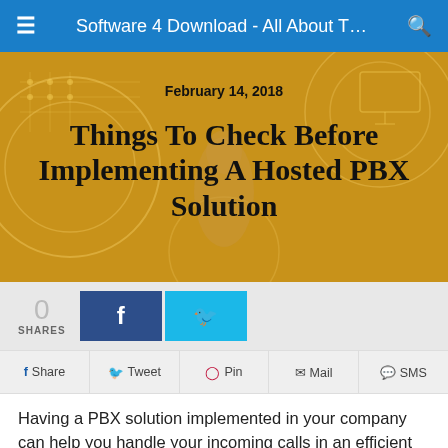Software 4 Download - All About T…
[Figure (photo): Hero banner image with golden/orange toned background showing tech/network imagery with person holding a phone or device. Overlaid text shows date and article title.]
February 14, 2018
Things To Check Before Implementing A Hosted PBX Solution
0 SHARES
[Figure (infographic): Social share buttons: Facebook (dark blue with f icon) and Twitter (cyan with bird icon)]
Share   Tweet   Pin   Mail   SMS
Having a PBX solution implemented in your company can help you handle your incoming calls in an efficient way. By offering your customers proper assistance